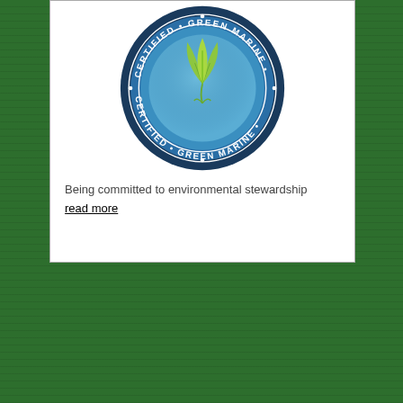[Figure (logo): Green Marine certified logo — circular badge with dark navy and teal blue background, three green leaves in center, white text reading 'CERTIFIED GREEN MARINE' around the ring with bullet dots]
Being committed to environmental stewardship
read more